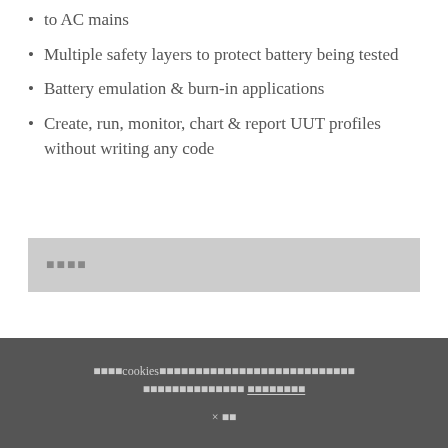to AC mains
Multiple safety layers to protect battery being tested
Battery emulation & burn-in applications
Create, run, monitor, chart & report UUT profiles without writing any code
[Figure (other): Gray bar with placeholder text (squares/boxes indicating missing characters)]
Cookie notice with placeholder text and close button